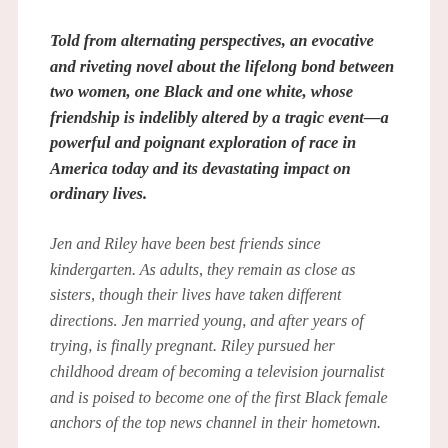Told from alternating perspectives, an evocative and riveting novel about the lifelong bond between two women, one Black and one white, whose friendship is indelibly altered by a tragic event—a powerful and poignant exploration of race in America today and its devastating impact on ordinary lives.
Jen and Riley have been best friends since kindergarten. As adults, they remain as close as sisters, though their lives have taken different directions. Jen married young, and after years of trying, is finally pregnant. Riley pursued her childhood dream of becoming a television journalist and is poised to become one of the first Black female anchors of the top news channel in their hometown.